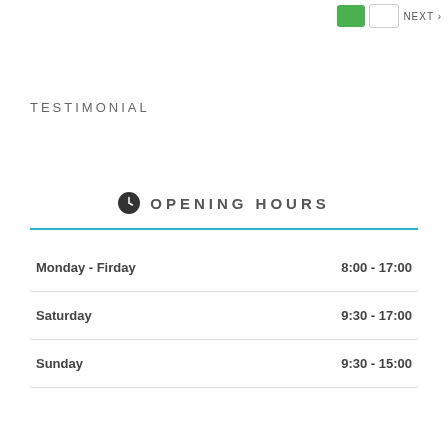TESTIMONIAL
OPENING HOURS
| Day | Hours |
| --- | --- |
| Monday - Firday | 8:00 - 17:00 |
| Saturday | 9:30 - 17:00 |
| Sunday | 9:30 - 15:00 |